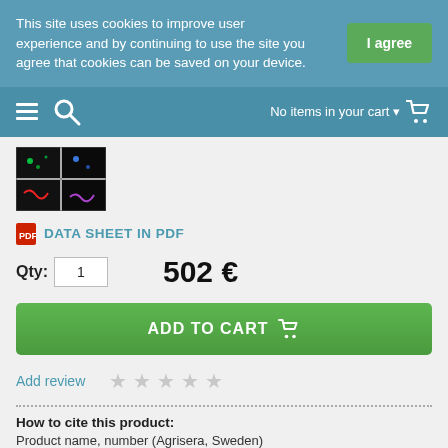This site uses cookies to improve user experience and by continuing to use the site you agree that cookies can be saved on your device.
I agree
No items in your cart
[Figure (photo): Product image showing 4-panel fluorescence microscopy grid]
DATA SHEET IN PDF
Qty: 1    502 €
ADD TO CART
Add review
How to cite this product:
Product name, number (Agrisera, Sweden)